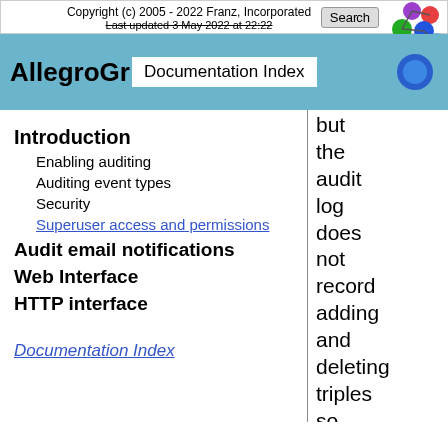Copyright (c) 2005 - 2022 Franz, Incorporated
Last updated 3 May 2022 at 22:22
AllegroGr… Documentation Index
Introduction
Enabling auditing
Auditing event types
Security
Superuser access and permissions
Audit email notifications
Web Interface
HTTP interface
but the audit log does not record adding and deleting triples so that activity is
Documentation Index